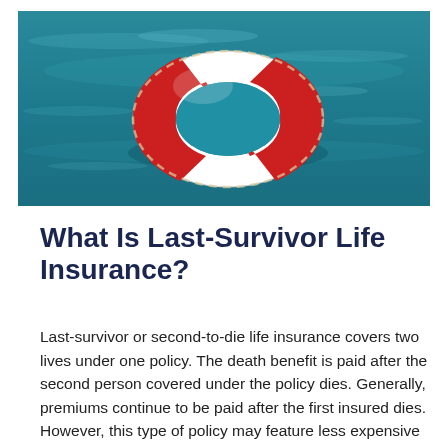[Figure (photo): Photo of a red and white life preserver ring floating on blue teal ocean water]
What Is Last-Survivor Life Insurance?
Last-survivor or second-to-die life insurance covers two lives under one policy. The death benefit is paid after the second person covered under the policy dies. Generally, premiums continue to be paid after the first insured dies. However, this type of policy may feature less expensive premiums than two individual policies, allowing the policy owner(s) the